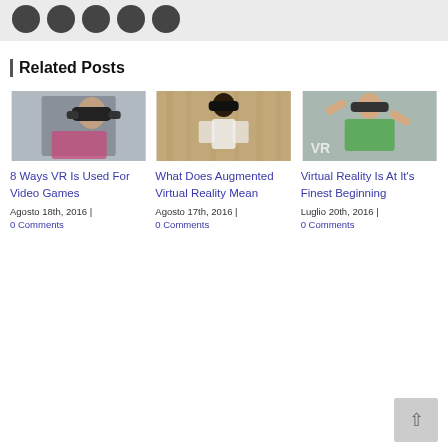[Figure (illustration): Social media sharing icon buttons (dark circular icons) on a light grey background bar]
Related Posts
[Figure (photo): Child wearing VR headset, looking up, grey background]
8 Ways VR Is Used For Video Games
Agosto 18th, 2016  |  0 Comments
[Figure (photo): Woman smiling wearing VR headset, holding controllers, wooden wall background]
What Does Augmented Virtual Reality Mean
Agosto 17th, 2016  |  0 Comments
[Figure (photo): Man in green shirt wearing AR headset with hands raised, grey background with VR logo]
Virtual Reality Is At It's Finest Beginning
Luglio 20th, 2016  |  0 Comments